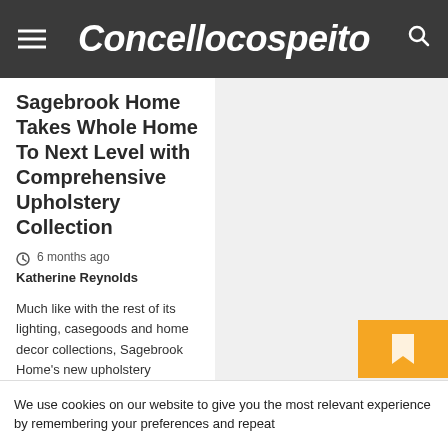Concellocospeito
Sagebrook Home Takes Whole Home To Next Level with Comprehensive Upholstery Collection
6 months ago  Katherine Reynolds
Much like with the rest of its lighting, casegoods and home decor collections, Sagebrook Home's new upholstery assortment strives to...
We use cookies on our website to give you the most relevant experience by remembering your preferences and repeat